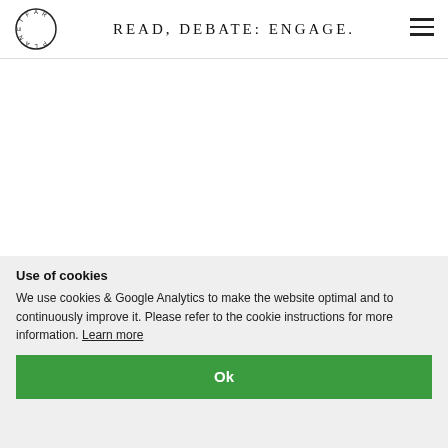READ, DEBATE: ENGAGE.
JULY 09, 2017
Use of cookies
We use cookies & Google Analytics to make the website optimal and to continuously improve it. Please refer to the cookie instructions for more information. Learn more
Ok